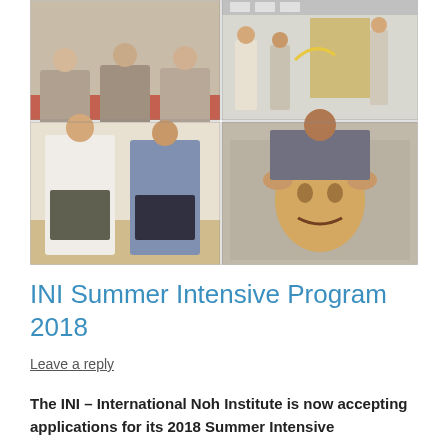[Figure (photo): Collage of four photographs showing Noh theater performers and students. Top left: three performers seated on a red mat in traditional Japanese costume. Top right upper: students in a rehearsal room with fans and traditional robes. Top right lower: someone having a Noh mask fitted onto their face. Bottom left: two performers, one in white robes and one in blue kimono, practicing Noh movements.]
INI Summer Intensive Program 2018
Leave a reply
The INI – International Noh Institute is now accepting applications for its 2018 Summer Intensive